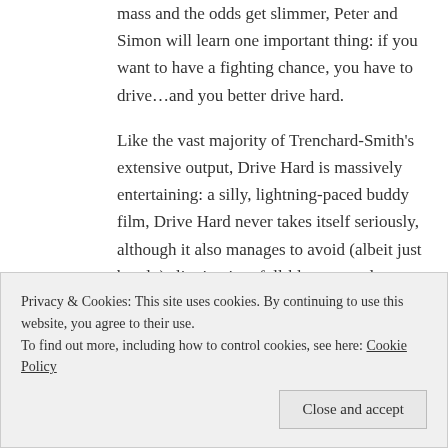mass and the odds get slimmer, Peter and Simon will learn one important thing: if you want to have a fighting chance, you have to drive…and you better drive hard.
Like the vast majority of Trenchard-Smith's extensive output, Drive Hard is massively entertaining: a silly, lightning-paced buddy film, Drive Hard never takes itself seriously, although it also manages to avoid (albeit just barely) slipping into full-blown parody territory. The Australian action auteur is a deft hand with this type of material, however, melding purely goofy comedy beats with genuinely thrilling action and racing sequences. While the film is the furthest thing
Privacy & Cookies: This site uses cookies. By continuing to use this website, you agree to their use.
To find out more, including how to control cookies, see here: Cookie Policy